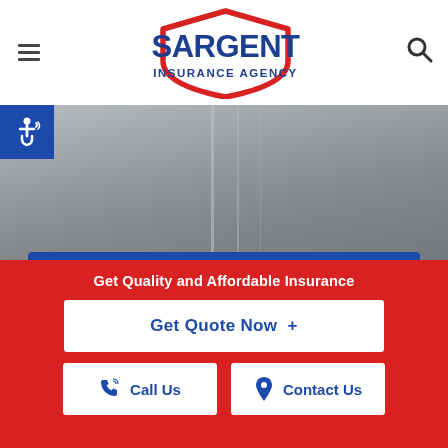[Figure (logo): Sargent Insurance Agency logo — red shield outline with dark blue text 'SARGENT' large and 'INSURANCE AGENCY' smaller below]
[Figure (illustration): Accessibility (wheelchair) icon on blue square background, positioned top-left below nav]
[Figure (photo): Blurred grey background hero photo, likely office or blinds]
Employment Practices Liability Insurance
Get Quality and Affordable Insurance
Get Quote Now  +
Call Us
Contact Us